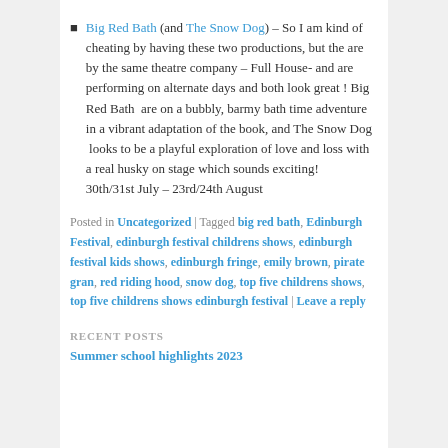Big Red Bath (and The Snow Dog) – So I am kind of cheating by having these two productions, but the are by the same theatre company – Full House- and are performing on alternate days and both look great ! Big Red Bath  are on a bubbly, barmy bath time adventure in a vibrant adaptation of the book, and The Snow Dog  looks to be a playful exploration of love and loss with a real husky on stage which sounds exciting!
30th/31st July – 23rd/24th August
Posted in Uncategorized | Tagged big red bath, Edinburgh Festival, edinburgh festival childrens shows, edinburgh festival kids shows, edinburgh fringe, emily brown, pirate gran, red riding hood, snow dog, top five childrens shows, top five childrens shows edinburgh festival | Leave a reply
RECENT POSTS
Summer school highlights 2023